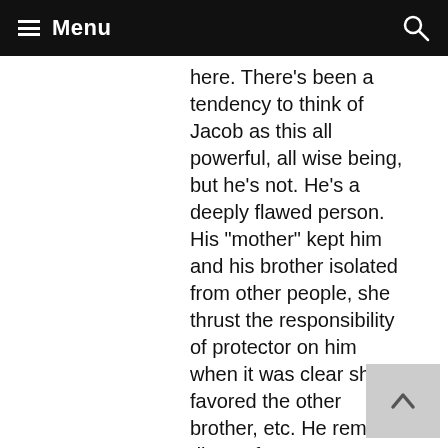Menu
here. There's been a tendency to think of Jacob as this all powerful, all wise being, but he's not. He's a deeply flawed person. His "mother" kept him and his brother isolated from other people, she thrust the responsibility of protector on him when it was clear she favored the other brother, etc. He remains distant from everyone, using his magic to hide himself from most